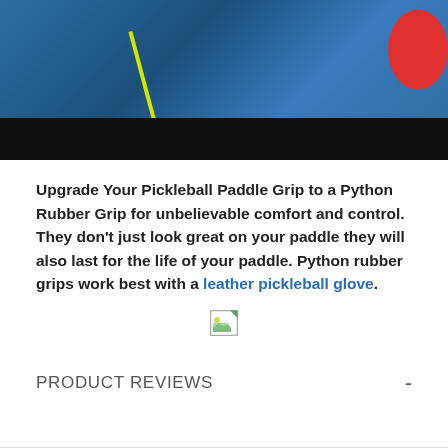[Figure (photo): Top portion of a pickleball paddle product photo showing blue surface with yellow line and red element, with a black bar overlay at the bottom]
Upgrade Your Pickleball Paddle Grip to a Python Rubber Grip for unbelievable comfort and control. They don't just look great on your paddle they will also last for the life of your paddle. Python rubber grips work best with a leather pickleball glove.
[Figure (photo): Broken/missing image placeholder icon]
PRODUCT REVIEWS